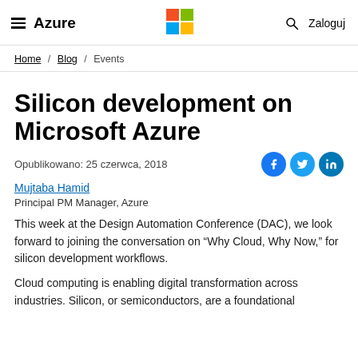Azure | Microsoft logo | Zaloguj
Home / Blog / Events
Silicon development on Microsoft Azure
Opublikowano: 25 czerwca, 2018
Mujtaba Hamid
Principal PM Manager, Azure
This week at the Design Automation Conference (DAC), we look forward to joining the conversation on “Why Cloud, Why Now,” for silicon development workflows.
Cloud computing is enabling digital transformation across industries. Silicon, or semiconductors, are a foundational